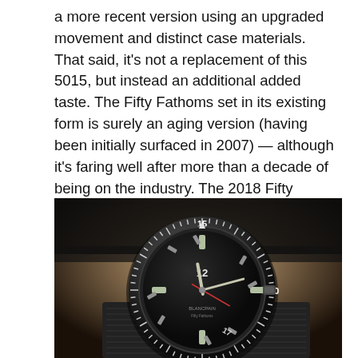a more recent version using an upgraded movement and distinct case materials. That said, it's not a replacement of this 5015, but instead an additional added taste. The Fifty Fathoms set in its existing form is surely an aging version (having been initially surfaced in 2007) — although it's faring well after more than a decade of being on the industry. The 2018 Fifty Fathoms Grande Date 5050 may not have owners of their 5015 to"update," but it may easily get more people into sporting what's a very appealing and good-performing high-end Swiss diver's watch.
[Figure (photo): Close-up photo of a Blancpain Fifty Fathoms dive watch with a dark dial showing numerals 12, 15, 17, 30, black bezel with minute markers, on a dark textile/fabric strap, with a blurred background.]